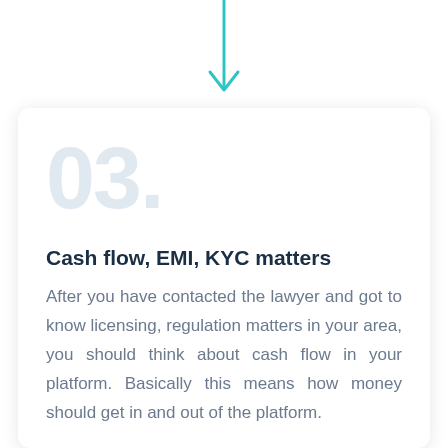[Figure (illustration): Teal/cyan downward arrow pointing into a card below]
03.
Cash flow, EMI, KYC matters
After you have contacted the lawyer and got to know licensing, regulation matters in your area, you should think about cash flow in your platform. Basically this means how money should get in and out of the platform.